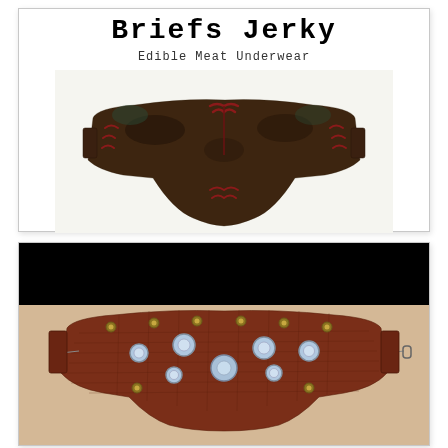Briefs Jerky
Edible Meat Underwear
[Figure (photo): Photo of jerky shaped like briefs/thong underwear with red lacing, dark brown dried meat texture, on white background]
[Figure (photo): Photo of jerky underwear with metal grommets and sequin decorations on dark brown textured meat, on beige/cream background, with black bar at top]